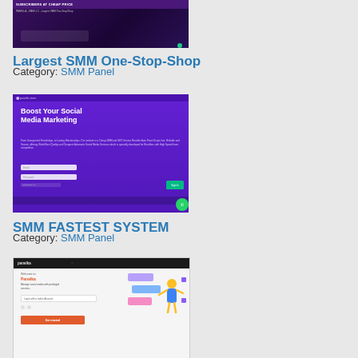[Figure (screenshot): Screenshot of SMM panel website with dark purple background showing 'SUBSCRIBERS AT CHEAP PRICE' header]
Largest SMM One-Stop-Shop
Category: SMM Panel
[Figure (screenshot): Screenshot of SMM panel website with purple background showing 'Boost Your Social Media Marketing' heading with form fields]
SMM FASTEST SYSTEM
Category: SMM Panel
[Figure (screenshot): Screenshot of Panelka website with black header showing welcome screen and illustration of person with social media icons]